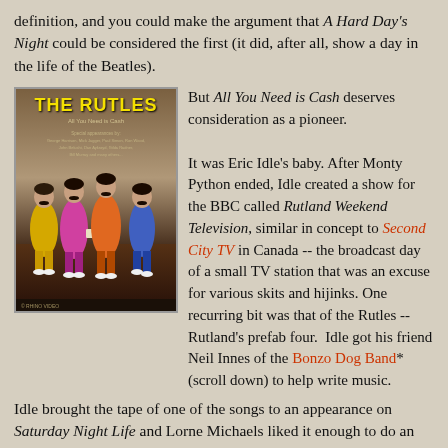definition, and you could make the argument that A Hard Day's Night could be considered the first (it did, after all, show a day in the life of the Beatles).
[Figure (photo): Movie poster for 'The Rutles: All You Need is Cash' showing four band members dressed in colorful Sgt. Pepper-style outfits]
But All You Need is Cash deserves consideration as a pioneer.

It was Eric Idle's baby. After Monty Python ended, Idle created a show for the BBC called Rutland Weekend Television, similar in concept to Second City TV in Canada -- the broadcast day of a small TV station that was an excuse for various skits and hijinks. One recurring bit was that of the Rutles -- Rutland's prefab four. Idle got his friend Neil Innes of the Bonzo Dog Band* (scroll down) to help write music.
Idle brought the tape of one of the songs to an appearance on Saturday Night Life and Lorne Michaels liked it enough to do an entire special on the concept.